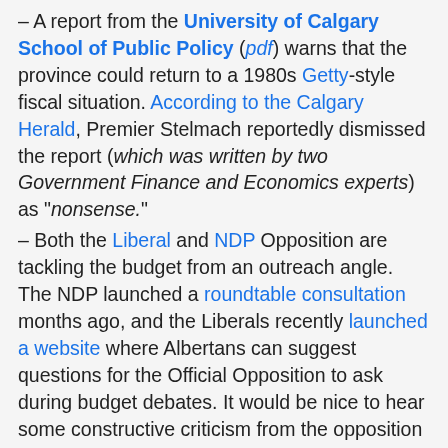– A report from the University of Calgary School of Public Policy (pdf) warns that the province could return to a 1980s Getty-style fiscal situation. According to the Calgary Herald, Premier Stelmach reportedly dismissed the report (which was written by two Government Finance and Economics experts) as "nonsense."
– Both the Liberal and NDP Opposition are tackling the budget from an outreach angle. The NDP launched a roundtable consultation months ago, and the Liberals recently launched a website where Albertans can suggest questions for the Official Opposition to ask during budget debates. It would be nice to hear some constructive criticism from the opposition on the budget, but prepare for some railing.
– On April 2, 2009, the Capital Region Board (comprising the municipalities in the Edmonton region) unveiled the Capital Region Growth Plan: Growing Forward. With this report, municipal leaders have taken an important step in